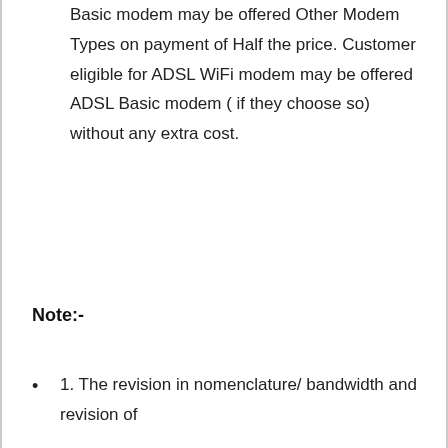Basic modem may be offered Other Modem Types on payment of Half the price. Customer eligible for ADSL WiFi modem may be offered ADSL Basic modem ( if they choose so) without any extra cost.
Note:-
1. The revision in nomenclature/ bandwidth and revision of